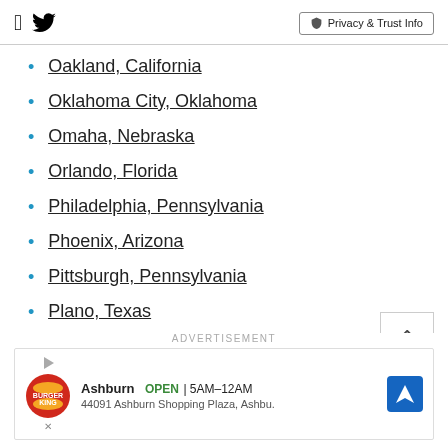Facebook Twitter | Privacy & Trust Info
Oakland, California
Oklahoma City, Oklahoma
Omaha, Nebraska
Orlando, Florida
Philadelphia, Pennsylvania
Phoenix, Arizona
Pittsburgh, Pennsylvania
Plano, Texas
ADVERTISEMENT
Burger King Ashburn OPEN 5AM–12AM 44091 Ashburn Shopping Plaza, Ashbu.